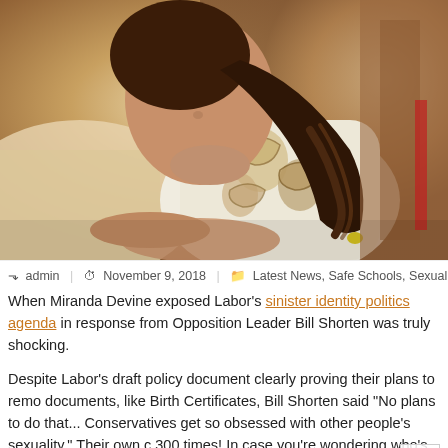[Figure (photo): Young girl with braided hair wearing a floral tank top, looking toward camera, resting on arms]
admin | November 9, 2018 | Latest News, Safe Schools, Sexuality Educa
When Miranda Devine exposed Labor's sinister identity politics agenda in response from Opposition Leader Bill Shorten was truly shocking.
Despite Labor's draft policy document clearly proving their plans to remove documents, like Birth Certificates, Bill Shorten said "No plans to do that... Conservatives get so obsessed with other people's sexuality." Their own c 300 times! In case you're wondering who's really obsessed with other pec